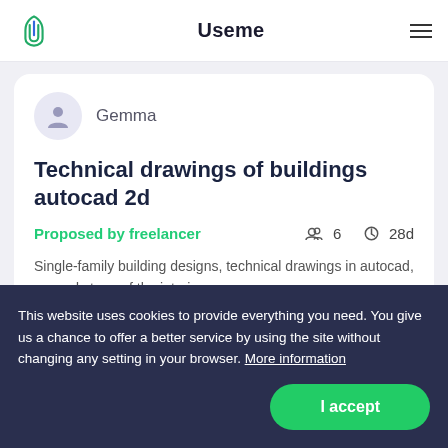Useme
Gemma
Technical drawings of buildings autocad 2d
Proposed by freelancer
6  28d
Single-family building designs, technical drawings in autocad, second stage of the interior
This website uses cookies to provide everything you need. You give us a chance to offer a better service by using the site without changing any setting in your browser. More information
I accept